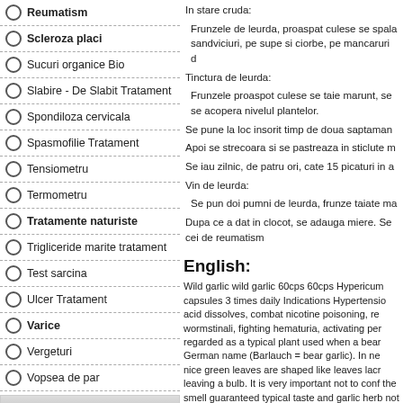Reumatism
Scleroza placi
Sucuri organice Bio
Slabire - De Slabit Tratament
Spondiloza cervicala
Spasmofilie Tratament
Tensiometru
Termometru
Tratamente naturiste
Trigliceride marite tratament
Test sarcina
Ulcer Tratament
Varice
Vergeturi
Vopsea de par
Produse
faina miez ulei de nuca HORTUS VERDI
ceai antidiabetic
GNC suplimente
Crema AE hand made
In stare cruda:
 Frunzele de leurda, proaspat culese se spala sandviciuri, pe supe si ciorbe, pe mancaruri d
Tinctura de leurda:
 Frunzele proaspot culese se taie marunt, se se acopera nivelul plantelor.
Se pune la loc insorit timp de doua saptaman
Apoi se strecoara si se pastreaza in sticlute m
Se iau zilnic, de patru ori, cate 15 picaturi in a
Vin de leurda:
 Se pun doi pumni de leurda, frunze taiate ma
Dupa ce a dat in clocot, se adauga miere. Se cei de reumatism
English:
Wild garlic wild garlic 60cps 60cps Hypericum capsules 3 times daily Indications Hypertensio acid dissolves, combat nicotine poisoning, re wormstinali, fighting hematuria, activating per regarded as a typical plant used when a bear German name (Barlauch = bear garlic). In ne nice green leaves are shaped like leaves lacr leaving a bulb. It is very important not to conf the smell guaranteed typical taste and garlic herb not collect can be very toxic. Wild garlic forest clearings of deciduous or pine humus